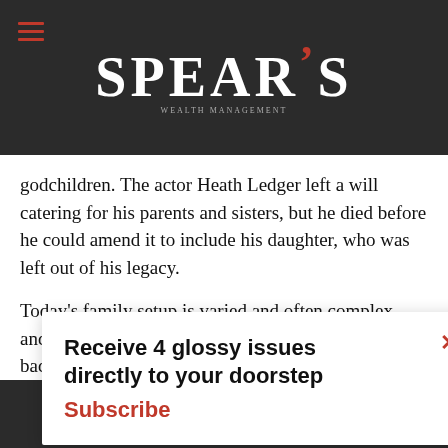SPEAR'S
godchildren. The actor Heath Ledger left a will catering for his parents and sisters, but he died before he could amend it to include his daughter, who was left out of his legacy.
Today's family setup is varied and often complex, and few things provoke a bitter family feud like a badly written will. To avoid your hard-earned cash being squandered in the law courts while your family tears ... really wanted,
Receive 4 glossy issues directly to your doorstep Subscribe
...s. continue using our all cookies on this
Continue  Learn more